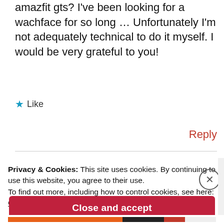amazfit gts? I've been looking for a wachface for so long … Unfortunately I'm not adequately technical to do it myself. I would be very grateful to you!
★ Like
Reply
Privacy & Cookies: This site uses cookies. By continuing to use this website, you agree to their use.
To find out more, including how to control cookies, see here: Cookie Policy
Close and accept